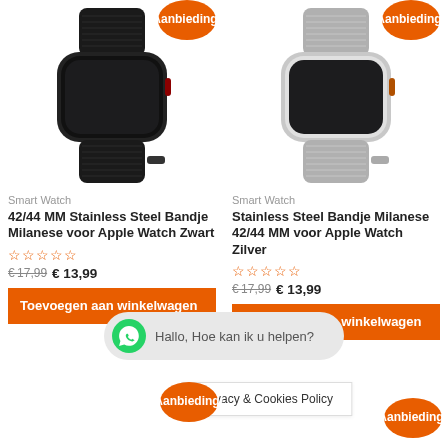[Figure (photo): Apple Watch with black Milanese stainless steel band, shown with orange 'Aanbieding!' badge top right]
[Figure (photo): Apple Watch with silver Milanese stainless steel band, shown with orange 'Aanbieding!' badge top right]
Smart Watch
42/44 MM Stainless Steel Bandje Milanese voor Apple Watch Zwart
☆☆☆☆☆
€ 17,99  € 13,99
Toevoegen aan winkelwagen
Smart Watch
Stainless Steel Bandje Milanese 42/44 MM voor Apple Watch Zilver
☆☆☆☆☆
€ 17,99  € 13,99
Toevoegen aan winkelwagen
Hallo, Hoe kan ik u helpen?
Privacy & Cookies Policy
Aanbieding!